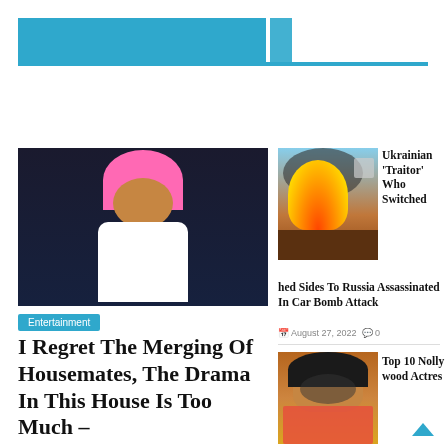[Figure (other): Website header with blue block and cyan underline]
[Figure (photo): Woman with pink hair wearing white crop top, arms spread, dark studio background]
Entertainment
I Regret The Merging Of Housemates, The Drama In This House Is Too Much –
[Figure (photo): Building on fire with large flames and smoke, outdoor daytime scene]
Ukrainian 'Traitor' Who Switched Sides To Russia Assassinated In Car Bomb Attack
August 27, 2022   0
[Figure (photo): Nollywood actress with curly hair wearing sunglasses, colorful outfit, brick wall background]
Top 10 Nollywood Actres